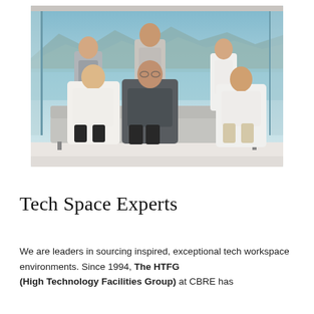[Figure (photo): Group photo of six professionals (five men and women) posed in a modern office with large windows overlooking a waterfront and mountains, seated and standing on a grey sofa.]
Tech Space Experts
We are leaders in sourcing inspired, exceptional tech workspace environments. Since 1994, The HTFG (High Technology Facilities Group) at CBRE has